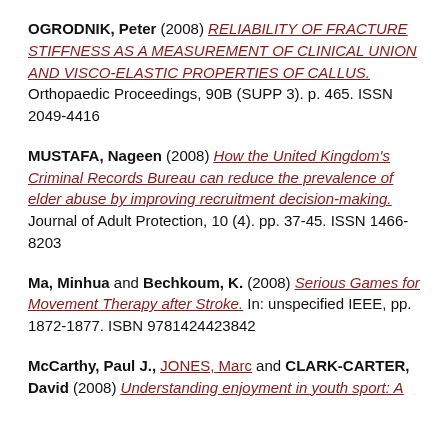OGRODNIK, Peter (2008) RELIABILITY OF FRACTURE STIFFNESS AS A MEASUREMENT OF CLINICAL UNION AND VISCO-ELASTIC PROPERTIES OF CALLUS. Orthopaedic Proceedings, 90B (SUPP 3). p. 465. ISSN 2049-4416
MUSTAFA, Nageen (2008) How the United Kingdom's Criminal Records Bureau can reduce the prevalence of elder abuse by improving recruitment decision-making. Journal of Adult Protection, 10 (4). pp. 37-45. ISSN 1466-8203
Ma, Minhua and Bechkoum, K. (2008) Serious Games for Movement Therapy after Stroke. In: unspecified IEEE, pp. 1872-1877. ISBN 9781424423842
McCarthy, Paul J., JONES, Marc and CLARK-CARTER, David (2008) Understanding enjoyment in youth sport: A